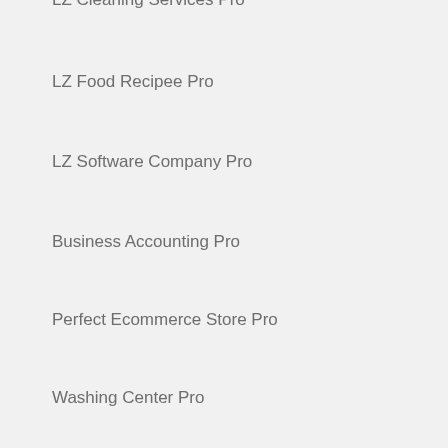LZ Cleaning Services Pro
LZ Food Recipee Pro
LZ Software Company Pro
Business Accounting Pro
Perfect Ecommerce Store Pro
Washing Center Pro
For Users
Cart
My Account
…onials
Translate »